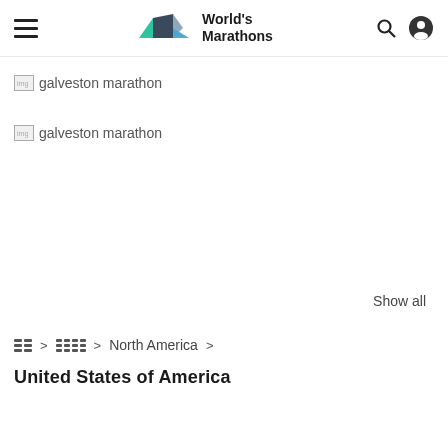World's Marathons
[Figure (logo): World's Marathons logo with geometric mountain/wave shapes in green, gray, and blue, with bold text 'World's Marathons']
[Figure (photo): Broken image placeholder: galveston marathon]
[Figure (photo): Broken image placeholder: galveston marathon]
Show all
North America >
United States of America